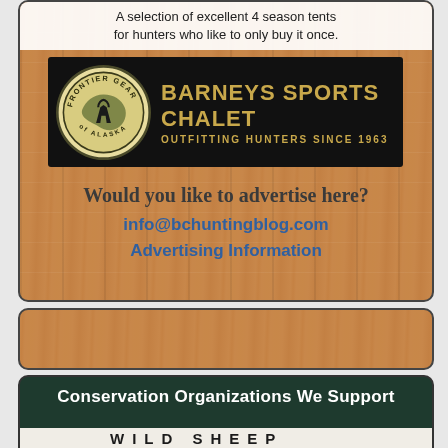A selection of excellent 4 season tents for hunters who like to only buy it once.
[Figure (logo): Barneys Sports Chalet advertisement banner with Frontier Gear of Alaska circular badge logo on black background. Text reads BARNEYS SPORTS CHALET OUTFITTING HUNTERS SINCE 1963 in gold.]
Would you like to advertise here?
info@bchuntingblog.com
Advertising Information
[Figure (other): Partial wood panel background block]
Conservation Organizations We Support
[Figure (logo): Wild Sheep Foundation logo showing a ram head with large horns, partially visible with text WILD SHEEP at bottom]